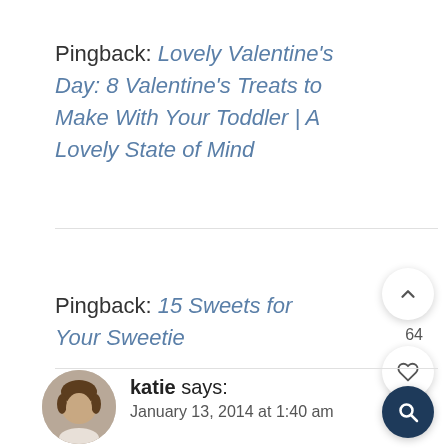Pingback: Lovely Valentine's Day: 8 Valentine's Treats to Make With Your Toddler | A Lovely State of Mind
Pingback: 15 Sweets for Your Sweetie
katie says:
January 13, 2014 at 1:40 am